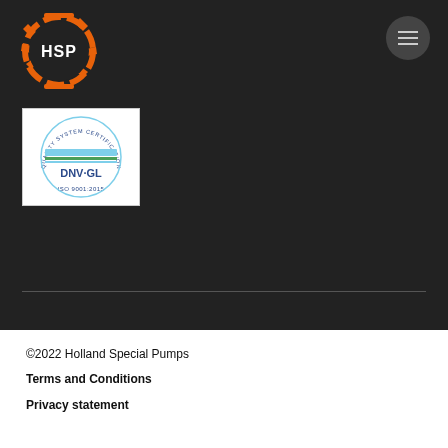[Figure (logo): HSP Holland Special Pumps logo — orange gear/ring with HSP text in white, dark background]
[Figure (logo): DNV·GL Quality System Certification ISO 9001:2015 badge — circular text, horizontal colored bands, DNV·GL text]
©2022 Holland Special Pumps
Terms and Conditions
Privacy statement